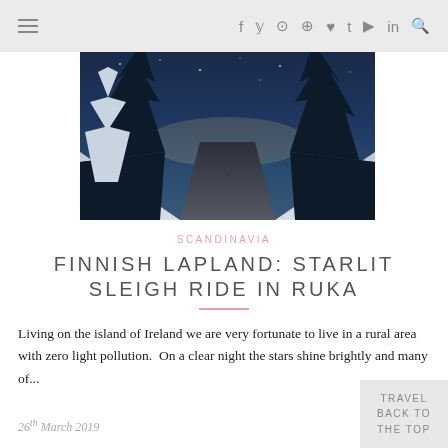≡  f  y  ◯  ⊕  ♥  t  ▶  in  🔍
[Figure (photo): A snowy winter road lined with snow-covered trees under a dark blue twilight sky in Finnish Lapland.]
SCANDINAVIA
FINNISH LAPLAND: STARLIT SLEIGH RIDE IN RUKA
Living on the island of Ireland we are very fortunate to live in a rural area with zero light pollution.  On a clear night the stars shine brightly and many of...
26th March 2019
TRAVEL BACK TO THE TOP